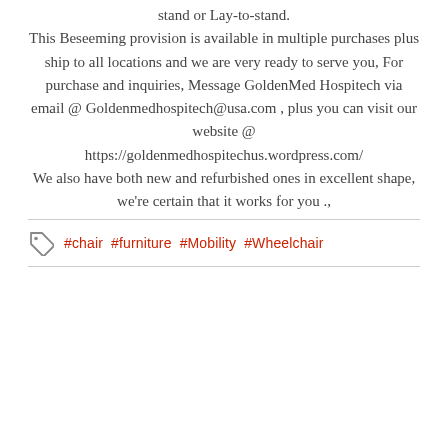stand or Lay-to-stand.
This Beseeming provision is available in multiple purchases plus ship to all locations and we are very ready to serve you, For purchase and inquiries, Message GoldenMed Hospitech via email @ Goldenmedhospitech@usa.com , plus you can visit our website @ https://goldenmedhospitechus.wordpress.com/ We also have both new and refurbished ones in excellent shape, we're certain that it works for you .,
#chair #furniture #Mobility #Wheelchair